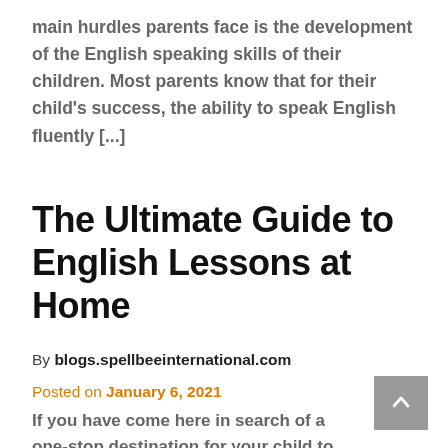main hurdles parents face is the development of the English speaking skills of their children. Most parents know that for their child's success, the ability to speak English fluently [...]
The Ultimate Guide to English Lessons at Home
By blogs.spellbeeinternational.com
Posted on January 6, 2021
If you have come here in search of a one-stop destination for your child to learn and improve their